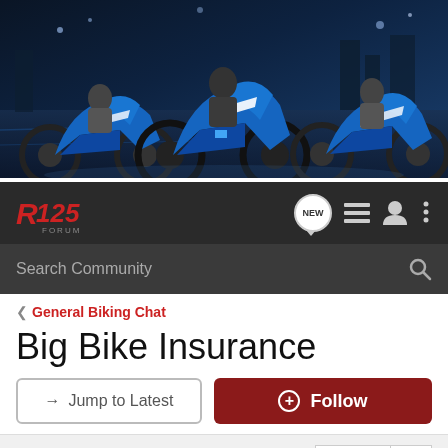[Figure (photo): Hero banner showing three blue Yamaha R125 motorcycles with riders in blue and white gear against a dark urban night background with city lights.]
R125 Forum — Navigation bar with NEW, list, user and menu icons, and Search Community search bar
< General Biking Chat
Big Bike Insurance
→ Jump to Latest
+ Follow
1 - 20 of 28 Posts
1 of 2 ▶
Guest ·